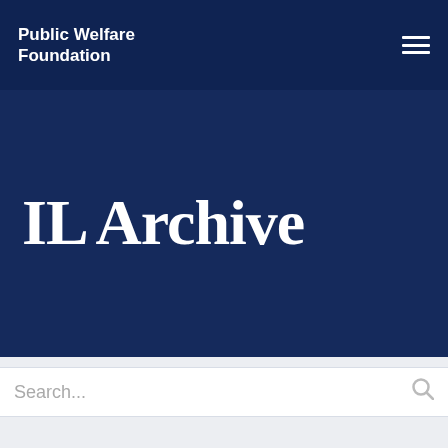Public Welfare Foundation
IL Archive
Search...